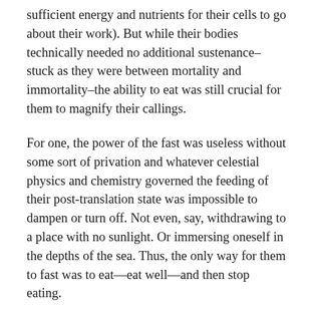sufficient energy and nutrients for their cells to go about their work). But while their bodies technically needed no additional sustenance–stuck as they were between mortality and immortality–the ability to eat was still crucial for them to magnify their callings.
For one, the power of the fast was useless without some sort of privation and whatever celestial physics and chemistry governed the feeding of their post-translation state was impossible to dampen or turn off. Not even, say, withdrawing to a place with no sunlight. Or immersing oneself in the depths of the sea. Thus, the only way for them to fast was to eat—eat well—and then stop eating.
For another, if they didn't eat, they had trouble focusing on their work. It was as if physical nourishment was necessary not to the functioning of their bodily systems, but rather to the